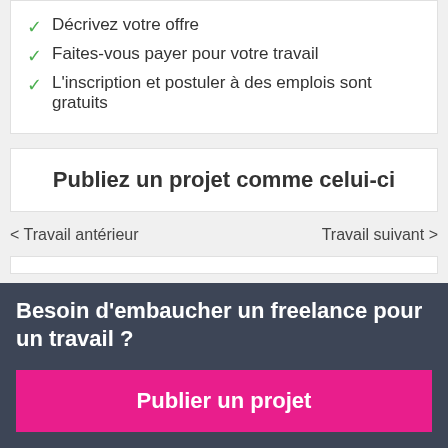Décrivez votre offre
Faites-vous payer pour votre travail
L'inscription et postuler à des emplois sont gratuits
Publiez un projet comme celui-ci
< Travail antérieur
Travail suivant >
Besoin d'embaucher un freelance pour un travail ?
Publier un projet